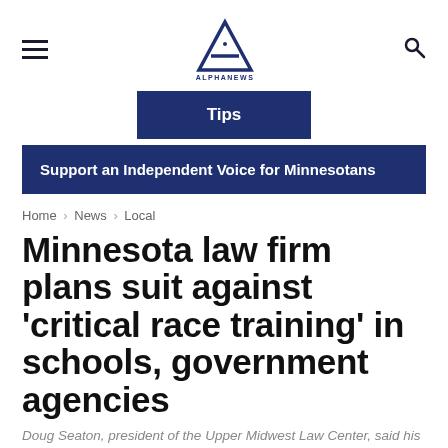Alpha News
[Figure (logo): Alpha News logo — a triangle/A shape with 'ALPHANEWS' text beneath]
Tips
Support an Independent Voice for Minnesotans
Home › News › Local
Minnesota law firm plans suit against 'critical race training' in schools, government agencies
Doug Seaton, president of the Upper Midwest Law Center, said his organization intends to find "a good case